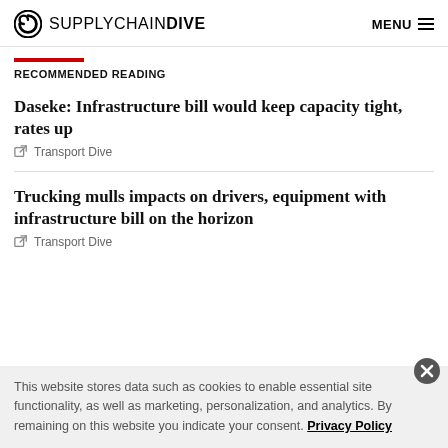SUPPLYCHAIN DIVE   MENU
RECOMMENDED READING
Daseke: Infrastructure bill would keep capacity tight, rates up
Transport Dive
Trucking mulls impacts on drivers, equipment with infrastructure bill on the horizon
Transport Dive
This website stores data such as cookies to enable essential site functionality, as well as marketing, personalization, and analytics. By remaining on this website you indicate your consent. Privacy Policy